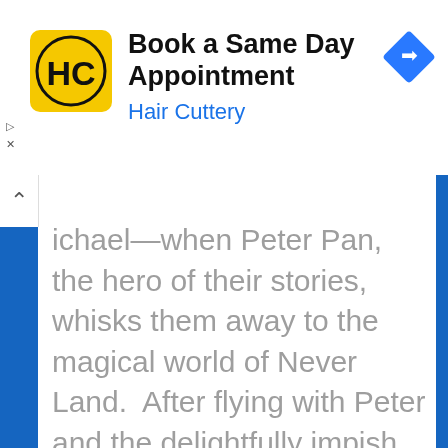[Figure (screenshot): Hair Cuttery advertisement banner with yellow HC logo circle, title 'Book a Same Day Appointment', subtitle 'Hair Cuttery' in blue, and a blue diamond navigation arrow icon on the right]
ichael—when Peter Pan, the hero of their stories, whisks them away to the magical world of Never Land.  After flying with Peter and the delightfully impish Tinker Bell past the "second star to the right and straight on till...